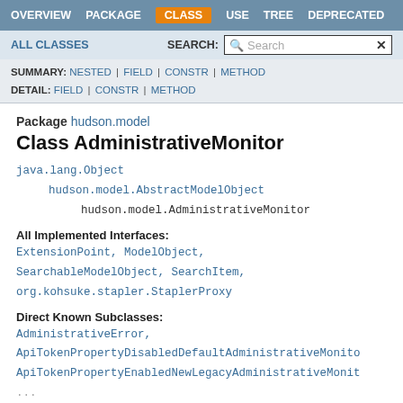OVERVIEW  PACKAGE  CLASS  USE  TREE  DEPRECATED
ALL CLASSES  SEARCH:
SUMMARY: NESTED | FIELD | CONSTR | METHOD  DETAIL: FIELD | CONSTR | METHOD
Package hudson.model
Class AdministrativeMonitor
java.lang.Object
    hudson.model.AbstractModelObject
        hudson.model.AdministrativeMonitor
All Implemented Interfaces:
ExtensionPoint, ModelObject, SearchableModelObject, SearchItem, org.kohsuke.stapler.StaplerProxy
Direct Known Subclasses:
AdministrativeError, ApiTokenPropertyDisabledDefaultAdministrativeMonito, ApiTokenPropertyEnabledNewLegacyAdministrativeMonit, ...